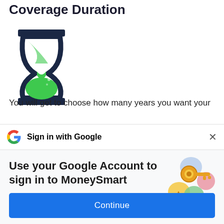Coverage Duration
[Figure (illustration): An hourglass icon with dark navy blue frame and green sand filling the bottom bulb, with a small amount trickling through.]
You will get to choose how many years you want your policy to be in effect, up to 100 years old.
Sign in with Google
Use your Google Account to sign in to MoneySmart
No more passwords to remember.
Signing in is fast, simple and secure.
[Figure (illustration): A colorful Google key illustration with a golden key overlapping circular shapes in blue, yellow, green, and red/pink colors.]
Continue